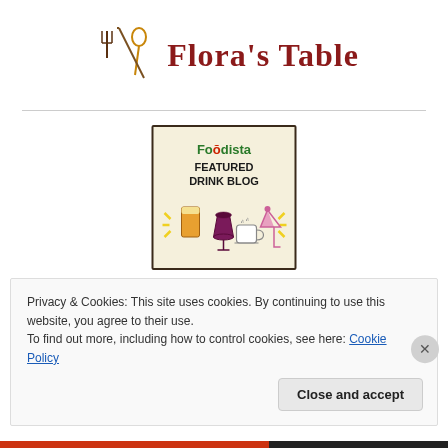[Figure (logo): Flora's Table logo with fork/spoon icon and red cursive/serif text]
[Figure (illustration): Foodista Featured Drink Blog badge with drink illustrations (beer glass, wine glass, coffee cup, martini glass) and yellow star rays]
Privacy & Cookies: This site uses cookies. By continuing to use this website, you agree to their use.
To find out more, including how to control cookies, see here: Cookie Policy
Close and accept